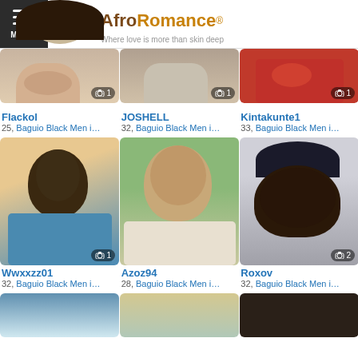AfroRomance® — Where love is more than skin deep
[Figure (photo): Profile photo of Flackol, partially visible at top]
[Figure (photo): Profile photo of JOSHELL, partially visible at top]
[Figure (photo): Profile photo of Kintakunte1, partially visible at top, wearing red Arsenal jersey]
Flackol
25, Baguio Black Men i…
JOSHELL
32, Baguio Black Men i…
Kintakunte1
33, Baguio Black Men i…
[Figure (photo): Profile photo of Wwxxzz01, smiling young Black man in blue shirt]
[Figure (photo): Profile photo of Azoz94, young man with mustache outdoors]
[Figure (photo): Profile photo of Roxov, man wearing Warriors beanie hat]
Wwxxzz01
32, Baguio Black Men i…
Azoz94
28, Baguio Black Men i…
Roxov
32, Baguio Black Men i…
[Figure (photo): Partial profile photo row 3 left, man near pool]
[Figure (photo): Partial profile photo row 3 center, person with hat]
[Figure (photo): Partial profile photo row 3 right, man's head from behind]